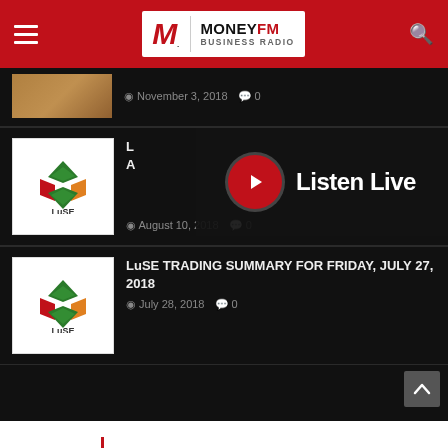[Figure (logo): MoneyFM Business Radio header logo with red background, hamburger menu and search icon]
November 3, 2018   0
[Figure (logo): LuSE (Lusaka Securities Exchange) logo]
[Figure (screenshot): Listen Live overlay panel with red play button and white text on dark background]
August 10, 2018   0
[Figure (logo): LuSE (Lusaka Securities Exchange) logo second instance]
LuSE TRADING SUMMARY FOR FRIDAY, JULY 27, 2018
July 28, 2018   0
[Figure (logo): MoneyFM Business Radio large logo at bottom of page, white background]